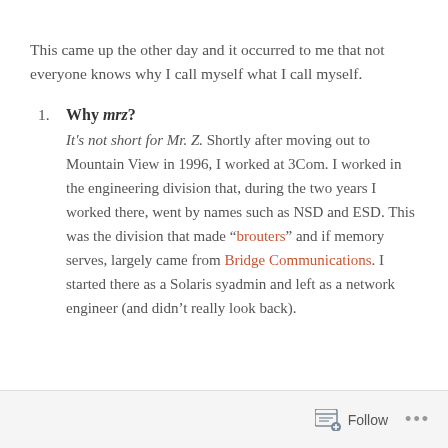This came up the other day and it occurred to me that not everyone knows why I call myself what I call myself.
Why mrz? It's not short for Mr. Z. Shortly after moving out to Mountain View in 1996, I worked at 3Com. I worked in the engineering division that, during the two years I worked there, went by names such as NSD and ESD. This was the division that made "brouters" and if memory serves, largely came from Bridge Communications. I started there as a Solaris syadmin and left as a network engineer (and didn't really look back).
Follow ...